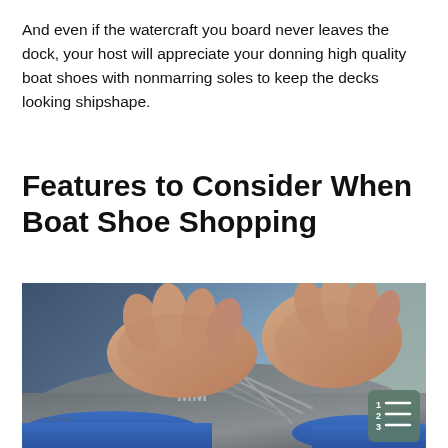And even if the watercraft you board never leaves the dock, your host will appreciate your donning high quality boat shoes with nonmarring soles to keep the decks looking shipshape.
Features to Consider When Boat Shoe Shopping
[Figure (photo): Close-up photo of hands tying laces on a grey and blue boat shoe/sneaker with 'MM' branding on the side]